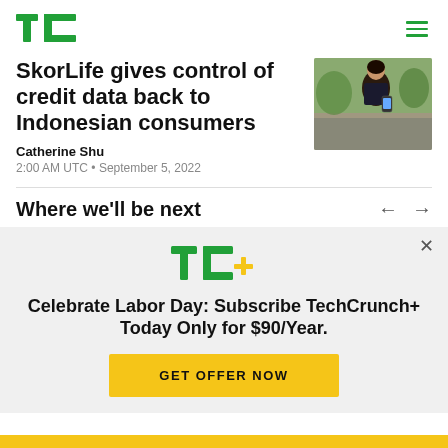TechCrunch
SkorLife gives control of credit data back to Indonesian consumers
Catherine Shu
2:00 AM UTC • September 5, 2022
[Figure (photo): Woman looking at smartphone outdoors]
Where we'll be next
Celebrate Labor Day: Subscribe TechCrunch+ Today Only for $90/Year.
GET OFFER NOW